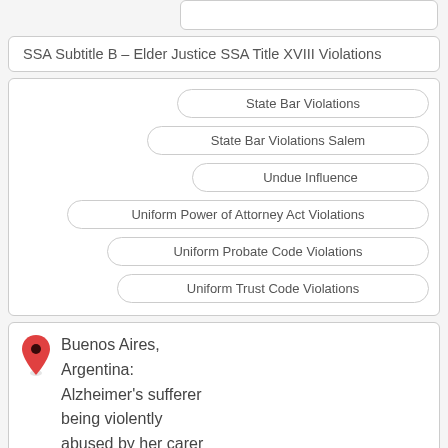SSA Subtitle B – Elder Justice SSA Title XVIII Violations
State Bar Violations
State Bar Violations Salem
Undue Influence
Uniform Power of Attorney Act Violations
Uniform Probate Code Violations
Uniform Trust Code Violations
Buenos Aires, Argentina: Alzheimer's sufferer being violently abused by her carer